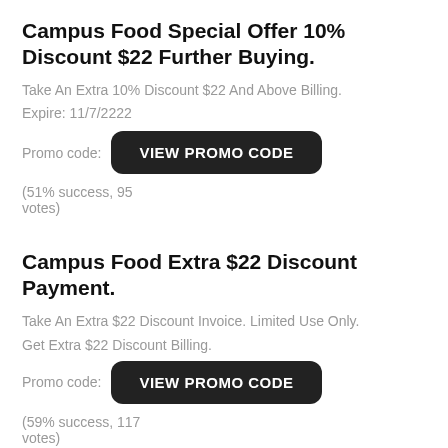Campus Food Special Offer 10% Discount $22 Further Buying.
Take An Extra 10% Discount $22 And Above Billing.
Expire: 11/7/2222
Promo code: VIEW PROMO CODE (51% success, 95 votes)
Campus Food Extra $22 Discount Payment.
Take An Extra $22 Discount Invoice. Limited Use Only.
Get Extra $22 Discount Billing.
Promo code: VIEW PROMO CODE (59% success, 117 votes)